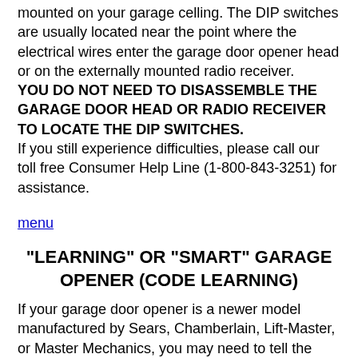mounted on your garage celling. The DIP switches are usually located near the point where the electrical wires enter the garage door opener head or on the externally mounted radio receiver. YOU DO NOT NEED TO DISASSEMBLE THE GARAGE DOOR HEAD OR RADIO RECEIVER TO LOCATE THE DIP SWITCHES. If you still experience difficulties, please call our toll free Consumer Help Line (1-800-843-3251) for assistance.
menu
"LEARNING" OR "SMART" GARAGE OPENER (CODE LEARNING)
If your garage door opener is a newer model manufactured by Sears, Chamberlain, Lift-Master, or Master Mechanics, you may need to tell the motor head, (radio receiver), mounted in